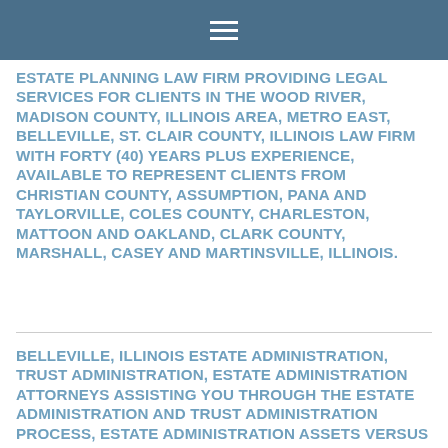ESTATE PLANNING LAW FIRM PROVIDING LEGAL SERVICES FOR CLIENTS IN THE WOOD RIVER, MADISON COUNTY, ILLINOIS AREA, METRO EAST, BELLEVILLE, ST. CLAIR COUNTY, ILLINOIS LAW FIRM WITH FORTY (40) YEARS PLUS EXPERIENCE, AVAILABLE TO REPRESENT CLIENTS FROM CHRISTIAN COUNTY, ASSUMPTION, PANA AND TAYLORVILLE, COLES COUNTY, CHARLESTON, MATTOON AND OAKLAND, CLARK COUNTY, MARSHALL, CASEY AND MARTINSVILLE, ILLINOIS.
BELLEVILLE, ILLINOIS ESTATE ADMINISTRATION, TRUST ADMINISTRATION, ESTATE ADMINISTRATION ATTORNEYS ASSISTING YOU THROUGH THE ESTATE ADMINISTRATION AND TRUST ADMINISTRATION PROCESS, ESTATE ADMINISTRATION ASSETS VERSUS NON-ESTATE ADMINISTRATION ASSETS, EVERY ESTATE ADMINISTRATION AND TRUST ADMINISTRATION IS UNIQUE, CONTESTS AND OTHER DISPUTES, SETTLEMENT OF ESTATE ADMINISTRATION, METRO EAST, BELLEVILLE, ST.